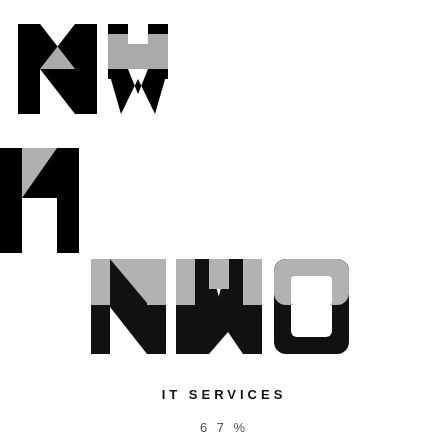[Figure (logo): NWo IT Services logo. Large stylized letters N, W, o in a bold geometric font. The upper portions of the letters are light gray, the lower portions are solid black, creating a two-tone split effect. Below the letters is the text IT SERVICES in spaced caps, and below that 67%.]
IT SERVICES
67%